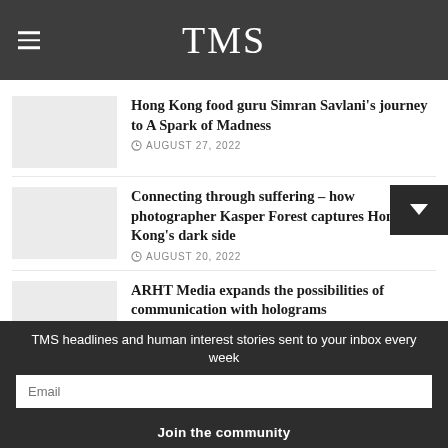TMS
Hong Kong food guru Simran Savlani's journey to A Spark of Madness
AUGUST 27, 2022
Connecting through suffering – how photographer Kasper Forest captures Hong Kong's dark side
AUGUST 20, 2022
ARHT Media expands the possibilities of communication with holograms
AUGUST 13, 2022
TMS headlines and human interest stories sent to your inbox every week
Email
Join the community